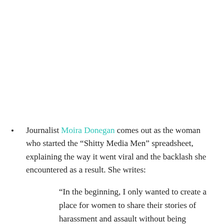Journalist Moira Donegan comes out as the woman who started the “Shitty Media Men” spreadsheet, explaining the way it went viral and the backlash she encountered as a result. She writes:
“In the beginning, I only wanted to create a place for women to share their stories of harassment and assault without being needlessly discredited or